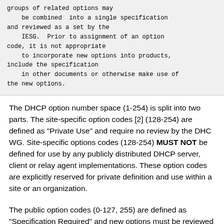groups of related options may be combined  into a single specification and reviewed as a set by the
    IESG.  Prior to assignment of an option code, it is not appropriate
    to incorporate new options into products, include the specification
    in other documents or otherwise make use of the new options.
The DHCP option number space (1-254) is split into two parts. The site-specific option codes [2] (128-254) are defined as "Private Use" and require no review by the DHC WG. Site-specific options codes (128-254) MUST NOT be defined for use by any publicly distributed DHCP server, client or relay agent implementations. These option codes are explicitly reserved for private definition and use within a site or an organization.
The public option codes (0-127, 255) are defined as "Specification Required" and new options must be reviewed prior to assignment of an option number by IANA. The